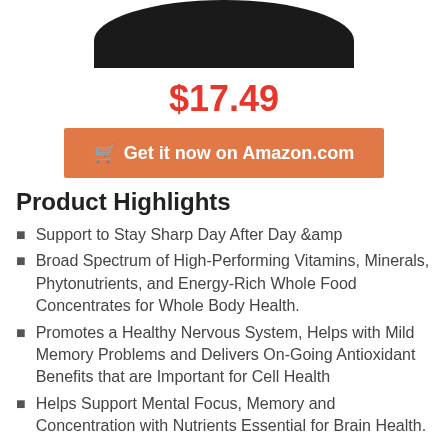[Figure (photo): Bottom portion of a dark/black round product container, cropped at top]
$17.49
Get it now on Amazon.com
Product Highlights
Support to Stay Sharp Day After Day &amp
Broad Spectrum of High-Performing Vitamins, Minerals, Phytonutrients, and Energy-Rich Whole Food Concentrates for Whole Body Health.
Promotes a Healthy Nervous System, Helps with Mild Memory Problems and Delivers On-Going Antioxidant Benefits that are Important for Cell Health
Helps Support Mental Focus, Memory and Concentration with Nutrients Essential for Brain Health.